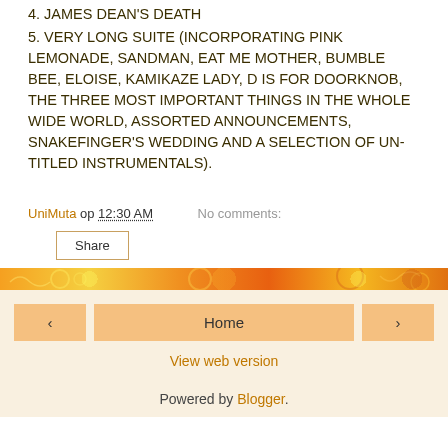4. JAMES DEAN'S DEATH
5. VERY LONG SUITE (INCORPORATING PINK LEMONADE, SANDMAN, EAT ME MOTHER, BUMBLE BEE, ELOISE, KAMIKAZE LADY, D IS FOR DOORKNOB, THE THREE MOST IMPORTANT THINGS IN THE WHOLE WIDE WORLD, ASSORTED ANNOUNCEMENTS, SNAKEFINGER'S WEDDING AND A SELECTION OF UN-TITLED INSTRUMENTALS).
UniMuta op 12:30 AM   No comments:
Share
[Figure (other): Decorative orange/yellow/red swirling pattern banner]
‹  Home  ›
View web version
Powered by Blogger.